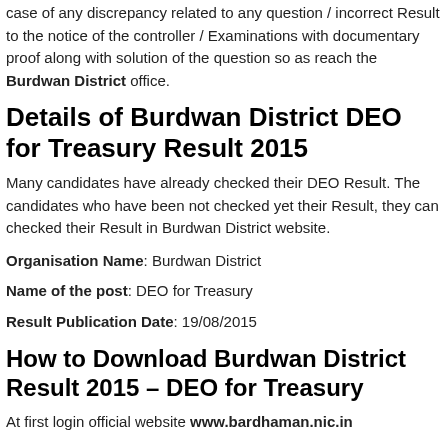case of any discrepancy related to any question / incorrect Result to the notice of the controller / Examinations with documentary proof along with solution of the question so as reach the Burdwan District office.
Details of Burdwan District DEO for Treasury Result 2015
Many candidates have already checked their DEO Result. The candidates who have been not checked yet their Result, they can checked their Result in Burdwan District website.
Organisation Name: Burdwan District
Name of the post: DEO for Treasury
Result Publication Date: 19/08/2015
How to Download Burdwan District Result 2015 – DEO for Treasury
At first login official website www.bardhaman.nic.in